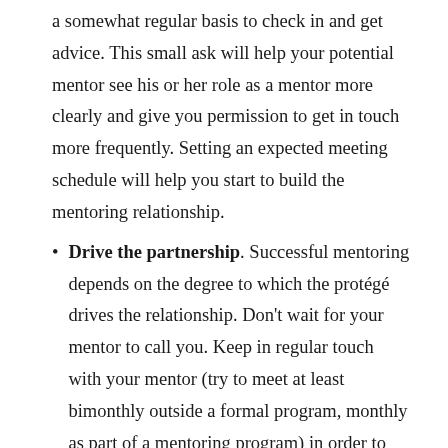a somewhat regular basis to check in and get advice. This small ask will help your potential mentor see his or her role as a mentor more clearly and give you permission to get in touch more frequently. Setting an expected meeting schedule will help you start to build the mentoring relationship.
Drive the partnership. Successful mentoring depends on the degree to which the protégé drives the relationship. Don't wait for your mentor to call you. Keep in regular touch with your mentor (try to meet at least bimonthly outside a formal program, monthly as part of a mentoring program) in order to build momentum. When you meet with your mentor, think about what you want to discuss in advance. Also, close